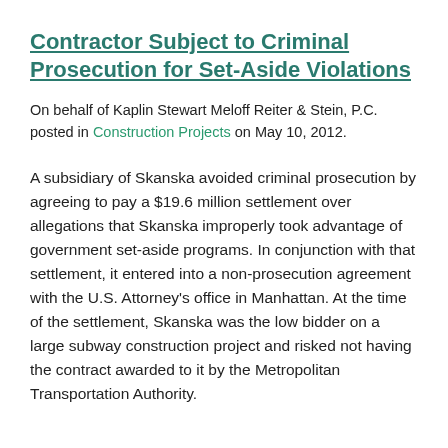Contractor Subject to Criminal Prosecution for Set-Aside Violations
On behalf of Kaplin Stewart Meloff Reiter & Stein, P.C. posted in Construction Projects on May 10, 2012.
A subsidiary of Skanska avoided criminal prosecution by agreeing to pay a $19.6 million settlement over allegations that Skanska improperly took advantage of government set-aside programs. In conjunction with that settlement, it entered into a non-prosecution agreement with the U.S. Attorney's office in Manhattan. At the time of the settlement, Skanska was the low bidder on a large subway construction project and risked not having the contract awarded to it by the Metropolitan Transportation Authority.